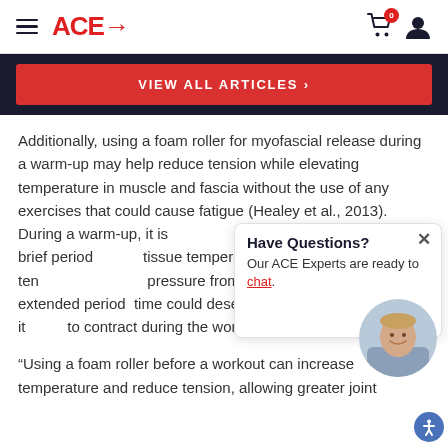ACE→
VIEW ALL ARTICLES >
Additionally, using a foam roller for myofascial release during a warm-up may help reduce tension while elevating temperature in muscle and fascia without the use of any exercises that could cause fatigue (Healey et al., 2013). During a warm-up, it is [recommended to] use the foam roller for a brief period [to increase] tissue temperature and reduce ten[sion. Applying] pressure from a foam roller for an extended period [of] time could desensitize the muscle and affect it[s ability] to contract during the workout.
Have Questions? Our ACE Experts are ready to chat.
“Using a foam roller before a workout can increase temperature and reduce tension, allowing greater joint